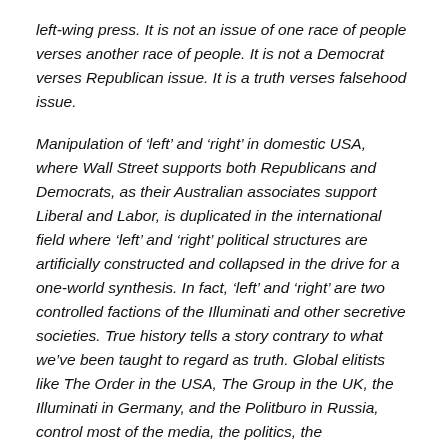left-wing press. It is not an issue of one race of people verses another race of people. It is not a Democrat verses Republican issue. It is a truth verses falsehood issue.
Manipulation of ‘left’ and ‘right’ in domestic USA, where Wall Street supports both Republicans and Democrats, as their Australian associates support Liberal and Labor, is duplicated in the international field where ‘left’ and ‘right’ political structures are artificially constructed and collapsed in the drive for a one-world synthesis. In fact, ‘left’ and ‘right’ are two controlled factions of the Illuminati and other secretive societies. True history tells a story contrary to what we’ve been taught to regard as truth. Global elitists like The Order in the USA, The Group in the UK, the Illuminati in Germany, and the Politburo in Russia, control most of the media, the politics, the entertainment industries, and the education systems of the West. Thenk...